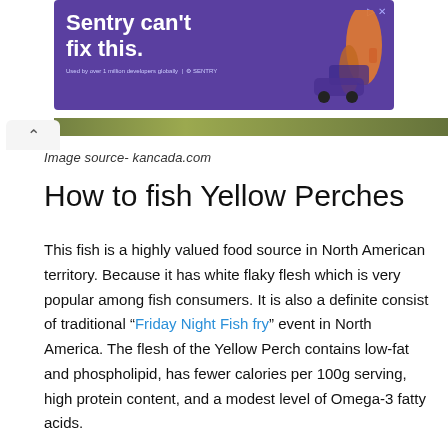[Figure (illustration): Advertisement banner with purple background showing text 'Sentry can't fix this.' with illustrated figures and Sentry logo]
[Figure (photo): Image strip showing green foliage/nature scene]
Image source- kancada.com
How to fish Yellow Perches
This fish is a highly valued food source in North American territory. Because it has white flaky flesh which is very popular among fish consumers. It is also a definite consist of traditional "Friday Night Fish fry" event in North America. The flesh of the Yellow Perch contains low-fat and phospholipid, has fewer calories per 100g serving, high protein content, and a modest level of Omega-3 fatty acids.